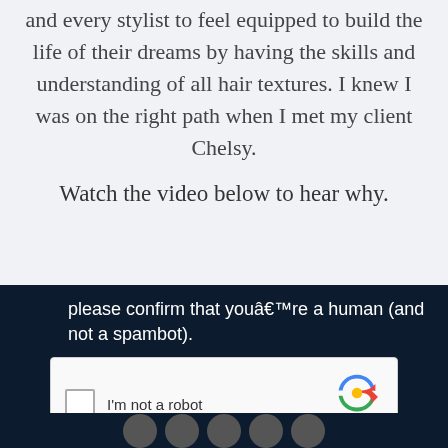and every stylist to feel equipped to build the life of their dreams by having the skills and understanding of all hair textures. I knew I was on the right path when I met my client Chelsy.
Watch the video below to hear why.
please confirm that youâ€™re a human (and not a spambot).
[Figure (screenshot): reCAPTCHA widget with checkbox labeled 'I'm not a robot' and reCAPTCHA logo with Privacy and Terms links]